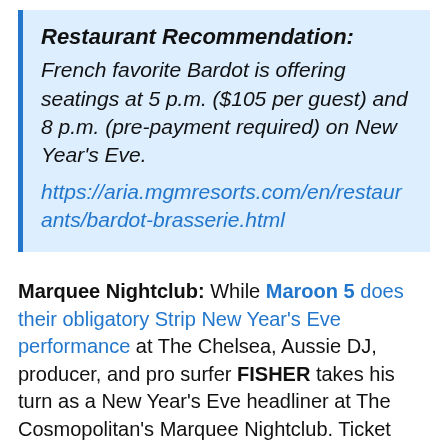Restaurant Recommendation: French favorite Bardot is offering seatings at 5 p.m. ($105 per guest) and 8 p.m. (pre-payment required) on New Year's Eve. https://aria.mgmresorts.com/en/restaurants/bardot-brasserie.html
Marquee Nightclub: While Maroon 5 does their obligatory Strip New Year's Eve performance at The Chelsea, Aussie DJ, producer, and pro surfer FISHER takes his turn as a New Year's Eve headliner at The Cosmopolitan's Marquee Nightclub. Ticket tiers range from General Admission ($75-$150) to